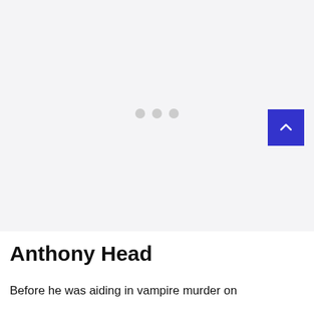[Figure (other): A large image placeholder area with a light gray background and three gray dots centered in the middle, indicating a loading or carousel image region. A blue scroll-to-top button with a chevron/up-arrow icon is positioned in the bottom-right corner of the image area.]
Anthony Head
Before he was aiding in vampire murder on